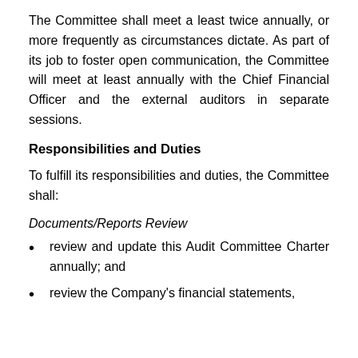The Committee shall meet a least twice annually, or more frequently as circumstances dictate. As part of its job to foster open communication, the Committee will meet at least annually with the Chief Financial Officer and the external auditors in separate sessions.
Responsibilities and Duties
To fulfill its responsibilities and duties, the Committee shall:
Documents/Reports Review
review and update this Audit Committee Charter annually; and
review the Company's financial statements,